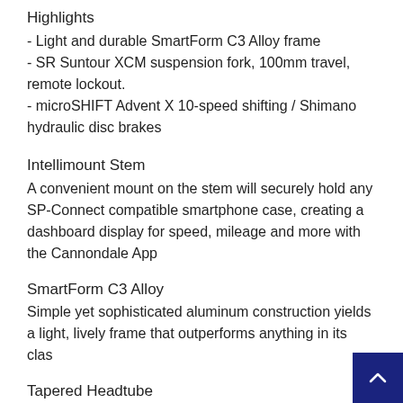Highlights
- Light and durable SmartForm C3 Alloy frame
- SR Suntour XCM suspension fork, 100mm travel, remote lockout.
- microSHIFT Advent X 10-speed shifting / Shimano hydraulic disc brakes
Intellimount Stem
A convenient mount on the stem will securely hold any SP-Connect compatible smartphone case, creating a dashboard display for speed, mileage and more with the Cannondale App
SmartForm C3 Alloy
Simple yet sophisticated aluminum construction yields a light, lively frame that outperforms anything in its class
Tapered Headtube
The standard features enhance stability, lightness and stiff...